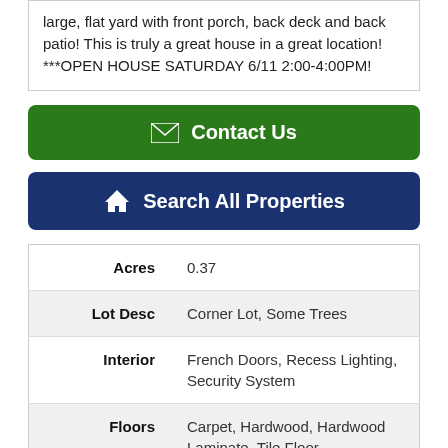large, flat yard with front porch, back deck and back patio! This is truly a great house in a great location! ***OPEN HOUSE SATURDAY 6/11 2:00-4:00PM!
[Figure (other): Green 'Contact Us' button with envelope icon]
[Figure (other): Dark blue 'Search All Properties' button with house icon]
| Acres | 0.37 |
| Lot Desc | Corner Lot, Some Trees |
| Interior | French Doors, Recess Lighting, Security System |
| Floors | Carpet, Hardwood, Hardwood Laminate, Tile Floor |